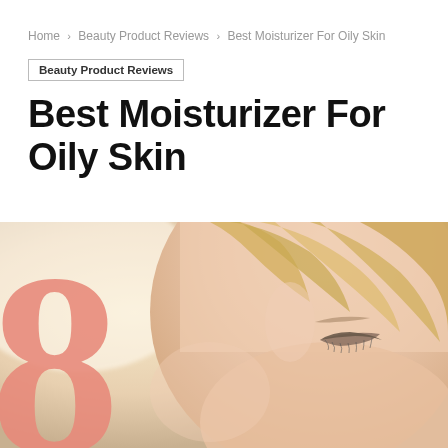Home > Beauty Product Reviews > Best Moisturizer For Oily Skin
Beauty Product Reviews
Best Moisturizer For Oily Skin
[Figure (photo): Close-up photo of a woman with closed eyes and blonde hair, with a large salmon/coral colored number 8 overlaid on the left side of the image]